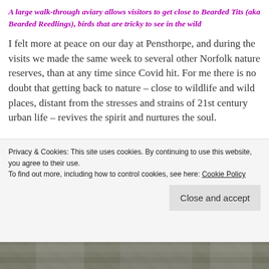A large walk-through aviary allows visitors to get close to Bearded Tits (aka Bearded Reedlings), birds that are tricky to see in the wild
I felt more at peace on our day at Pensthorpe, and during the visits we made the same week to several other Norfolk nature reserves, than at any time since Covid hit. For me there is no doubt that getting back to nature – close to wildlife and wild places, distant from the stresses and strains of 21st century urban life – revives the spirit and nurtures the soul.
Privacy & Cookies: This site uses cookies. By continuing to use this website, you agree to their use.
To find out more, including how to control cookies, see here: Cookie Policy
[Figure (photo): Partial view of a photo at the bottom of the page, appears to show wildlife or nature scene]